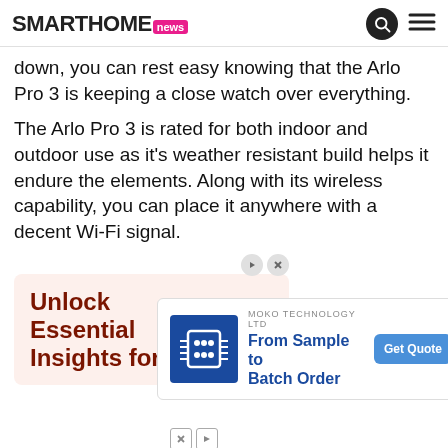SMARTHOME.news
down, you can rest easy knowing that the Arlo Pro 3 is keeping a close watch over everything.
The Arlo Pro 3 is rated for both indoor and outdoor use as it's weather resistant build helps it endure the elements. Along with its wireless capability, you can place it anywhere with a decent Wi-Fi signal.
[Figure (infographic): WSJ advertisement with pink background showing 'Unlock Essential Insights for' text in dark red/brown, with WSJ logo]
[Figure (infographic): MoKo Technology Ltd advertisement showing company logo on blue background, 'From Sample to Batch Order' text in blue, and a 'Get Quote' button]